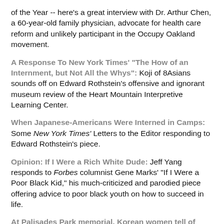of the Year -- here's a great interview with Dr. Arthur Chen, a 60-year-old family physician, advocate for health care reform and unlikely participant in the Occupy Oakland movement.
A Response To New York Times' "The How of an Internment, but Not All the Whys": Koji of 8Asians sounds off on Edward Rothstein's offensive and ignorant museum review of the Heart Mountain Interpretive Learning Center.
When Japanese-Americans Were Interned in Camps: Some New York Times' Letters to the Editor responding to Edward Rothstein's piece.
Opinion: If I Were a Rich White Dude: Jeff Yang responds to Forbes columnist Gene Marks' "If I Were a Poor Black Kid," his much-criticized and parodied piece offering advice to poor black youth on how to succeed in life.
At Palisades Park memorial, Korean women tell of WWII abuse: Last week in Palisades Park, New Jersey, 84-year-old Ok-seon Yi and 83-year-old Yongsoo Lee visited a monument dedicated to the thousands of women who were